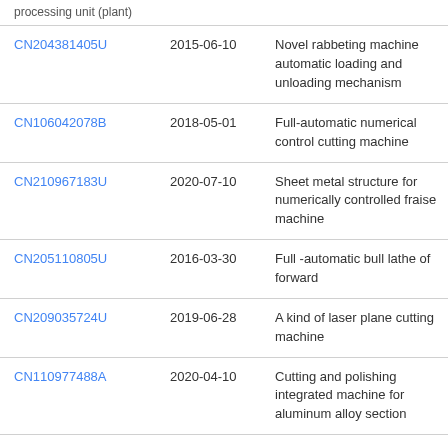| Patent ID | Date | Description |
| --- | --- | --- |
| CN204381405U | 2015-06-10 | Novel rabbeting machine automatic loading and unloading mechanism |
| CN106042078B | 2018-05-01 | Full-automatic numerical control cutting machine |
| CN210967183U | 2020-07-10 | Sheet metal structure for numerically controlled fraise machine |
| CN205110805U | 2016-03-30 | Full -automatic bull lathe of forward |
| CN209035724U | 2019-06-28 | A kind of laser plane cutting machine |
| CN110977488A | 2020-04-10 | Cutting and polishing integrated machine for aluminum alloy section |
| CN110774084A | 2020-02-11 | Five numerical control burr-grinding machines |
| CN203281884U | 2013-11-13 | Novel hydraulic automatic lathe |